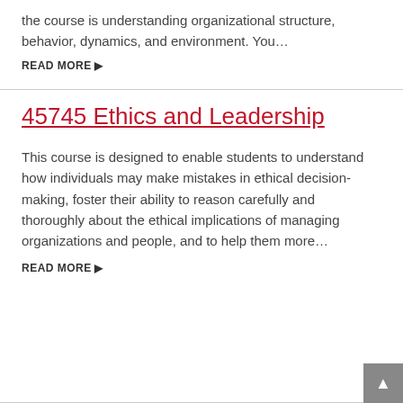the course is understanding organizational structure, behavior, dynamics, and environment. You…
READ MORE ▶
45745 Ethics and Leadership
This course is designed to enable students to understand how individuals may make mistakes in ethical decision-making, foster their ability to reason carefully and thoroughly about the ethical implications of managing organizations and people, and to help them more…
READ MORE ▶